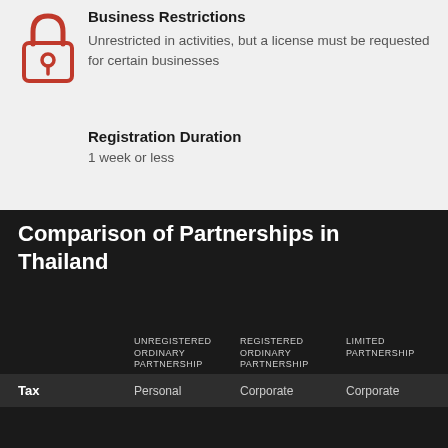Business Restrictions
Unrestricted in activities, but a license must be requested for certain businesses
Registration Duration
1 week or less
Comparison of Partnerships in Thailand
|  | UNREGISTERED ORDINARY PARTNERSHIP | REGISTERED ORDINARY PARTNERSHIP | LIMITED PARTNERSHIP |
| --- | --- | --- | --- |
| Tax | Personal | Corporate | Corporate |